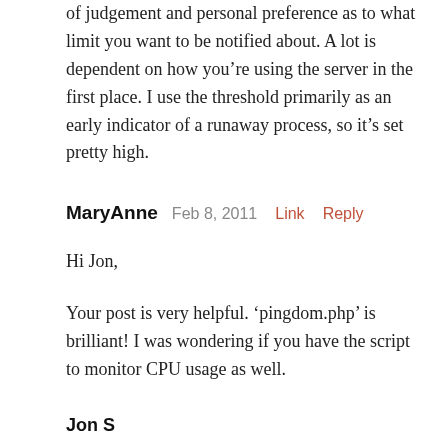of judgement and personal preference as to what limit you want to be notified about. A lot is dependent on how you’re using the server in the first place. I use the threshold primarily as an early indicator of a runaway process, so it’s set pretty high.
MaryAnne  Feb 8, 2011  Link  Reply
Hi Jon,
Your post is very helpful. ‘pingdom.php’ is brilliant! I was wondering if you have the script to monitor CPU usage as well.
Jon S